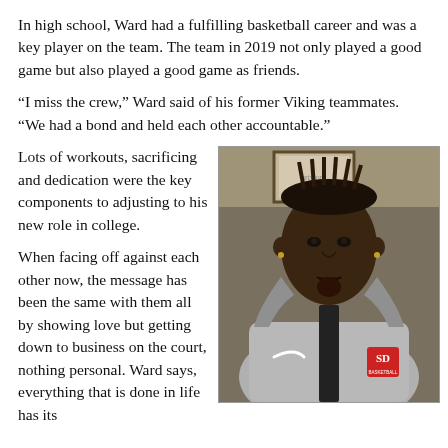In high school, Ward had a fulfilling basketball career and was a key player on the team. The team in 2019 not only played a good game but also played a good game as friends.
“I miss the crew,” Ward said of his former Viking teammates. “We had a bond and held each other accountable.”
Lots of workouts, sacrificing and dedication were the key components to adjusting to his new role in college.
[Figure (photo): Portrait photo of a young Black man wearing a gray Nike hoodie with a red SD Basketball logo, seated indoors against a muted wall with a framed picture in the background.]
When facing off against each other now, the message has been the same with them all by showing love but getting down to business on the court, nothing personal. Ward says, everything that is done in life has its